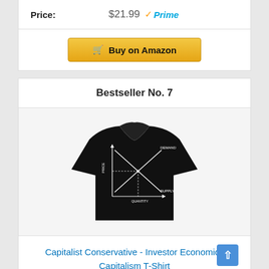Price: $21.99 Prime
[Figure (screenshot): Buy on Amazon button with shopping cart icon]
Bestseller No. 7
[Figure (photo): Black t-shirt with supply and demand economics chart printed on it, showing intersecting supply/demand curves with PRICE on y-axis and QUANTITY on x-axis]
Capitalist Conservative - Investor Economics Capitalism T-Shirt